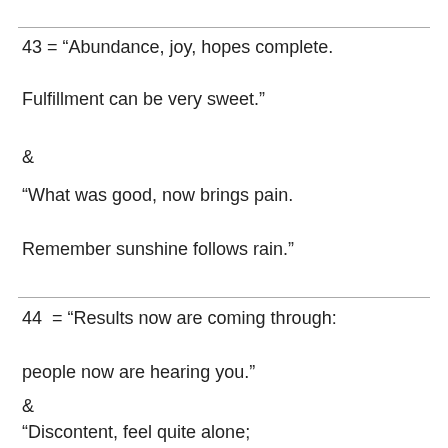43 = “Abundance, joy, hopes complete.
Fulfillment can be very sweet.”
&
“What was good, now brings pain.
Remember sunshine follows rain.”
44  = “Results now are coming through:
people now are hearing you.”
&
“Discontent, feel quite alone;